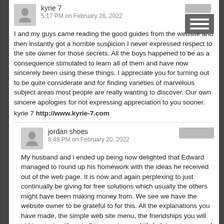kyrie 7
5:17 PM on February 26, 2022
I and my guys came reading the good guides from the website and then instantly got a horrible suspicion I never expressed respect to the site owner for those secrets. All the boys happened to be as a consequence stimulated to learn all of them and have now sincerely been using these things. I appreciate you for turning out to be quite considerate and for finding varieties of marvelous subject areas most people are really wanting to discover. Our own sincere apologies for not expressing appreciation to you sooner.
kyrie 7 http://www.kyrie-7.com
jordan shoes
8:48 PM on February 20, 2022
My husband and i ended up being now delighted that Edward managed to round up his homework with the ideas he received out of the web page. It is now and again perplexing to just continually be giving for free solutions which usually the others might have been making money from. We see we have the website owner to be grateful to for this. All the explanations you have made, the simple web site menu, the friendships you will aid to create - it's got all impressive, and it's helping our son and us recognize that this concept is enjoyable, which is certainly highly serious. Thank you for all!
jordan shoes http://www.jordan13.us.com